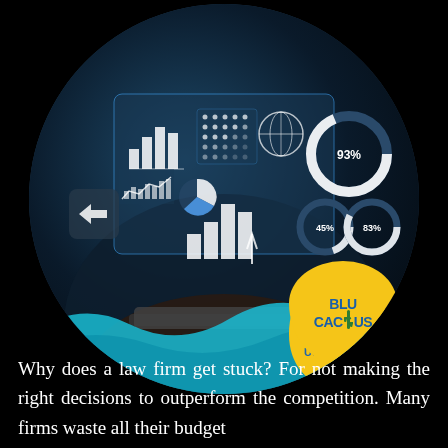[Figure (photo): Circular cropped photo of a businessman in a suit holding a tablet, with holographic digital dashboard overlays showing bar charts, line graphs, pie charts, and donut charts displaying percentages (93%, 45%, 83%). A teal wave decorates the bottom of the circle and a yellow teardrop-shaped logo badge for BluCactus appears in the lower right.]
Why does a law firm get stuck? For not making the right decisions to outperform the competition. Many firms waste all their budget